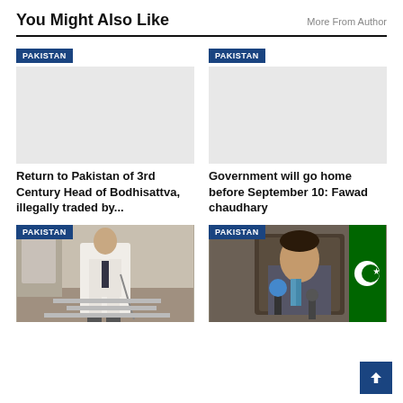You Might Also Like
More From Author
PAKISTAN
PAKISTAN
Return to Pakistan of 3rd Century Head of Bodhisattva, illegally traded by...
Government will go home before September 10: Fawad chaudhary
[Figure (photo): Man in white suit descending airplane stairs with a walking stick, PAKISTAN badge overlay]
[Figure (photo): Man in suit seated at a desk speaking into a microphone, Pakistani flag in background, PAKISTAN badge overlay]